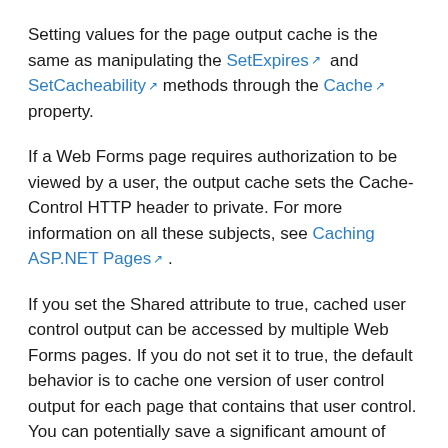Setting values for the page output cache is the same as manipulating the SetExpires and SetCacheability methods through the Cache property.
If a Web Forms page requires authorization to be viewed by a user, the output cache sets the Cache-Control HTTP header to private. For more information on all these subjects, see Caching ASP.NET Pages.
If you set the Shared attribute to true, cached user control output can be accessed by multiple Web Forms pages. If you do not set it to true, the default behavior is to cache one version of user control output for each page that contains that user control. You can potentially save a significant amount of memory by enabling the Shared attribute. For more information, see Caching Portions of an ASP.NET Page.